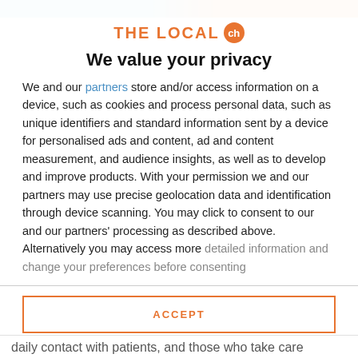THE LOCAL ch
We value your privacy
We and our partners store and/or access information on a device, such as cookies and process personal data, such as unique identifiers and standard information sent by a device for personalised ads and content, ad and content measurement, and audience insights, as well as to develop and improve products. With your permission we and our partners may use precise geolocation data and identification through device scanning. You may click to consent to our and our partners' processing as described above. Alternatively you may access more detailed information and change your preferences before consenting
ACCEPT
MORE OPTIONS
daily contact with patients, and those who take care